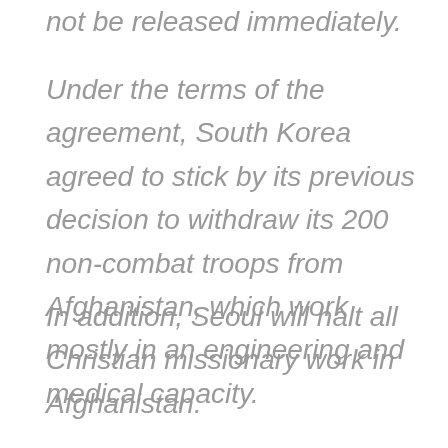not be released immediately.
Under the terms of the agreement, South Korea agreed to stick by its previous decision to withdraw its 200 non-combat troops from Afghanistan, which work mostly in an engineering and medical capacity.
In addition, Seoul will halt all Christian missionary work in Afghanistan.